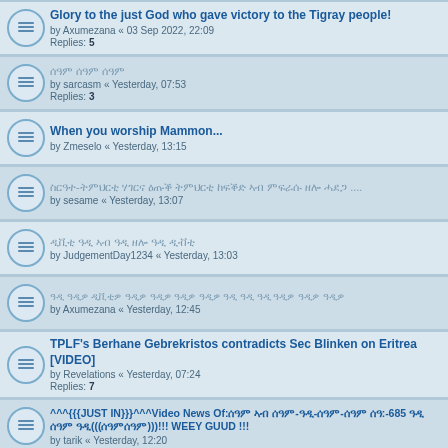Glory to the just God who gave victory to the Tigray people! by Axumezana « 03 Sep 2022, 22:09 Replies: 5
ሰዓም ሰዓም ሰዓም by sarcasm « Yesterday, 07:53 Replies: 3
When you worship Mammon... by Zmeselo « Yesterday, 13:15
ስርዓተ-ትምህርቲ ሃገርና ዕጡቕ ትምህርቲ ከፍቕድ ኣብ ምፍራሱ ዘሎ ሓደጋ .... by sesame « Yesterday, 13:07
ዲቪቲ ዓዲ ኣብ ዓዲ ዘሎ ዓዲ ዲቭቲ by JudgementDay1234 « Yesterday, 13:03
ዓዲ ዓዲዎ ዲቪቲዎ ዓዲዎ ዓዲዎ ዓዲዎ ዓዲዎ ዓዲ ዓዲ ዓዲ ዓዲዎ ዓዲዎ ዓዲዎ by Axumezana « Yesterday, 12:45
TPLF's Berhane Gebrekristos contradicts Sec Blinken on Eritrea [VIDEO] by Revelations « Yesterday, 07:24 Replies: 7
^^^{{{JUST IN}}}^^^Video News Of:... :-685 ... (((...)))!!! WEEY GUUD !!! by tarik « Yesterday, 12:20
Dr. Abby Ahmed : Highly scrutinized leader in today's Ethiopia. by Hawzen « 08 Feb 2022, 20:13 Replies: 25